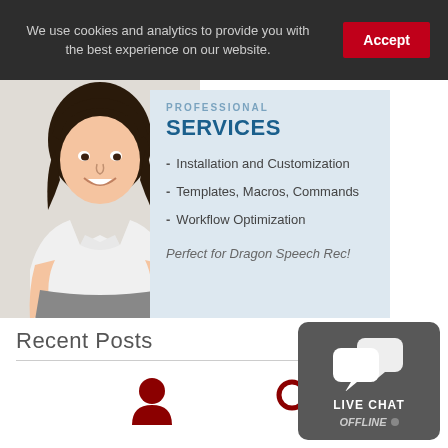We use cookies and analytics to provide you with the best experience on our website.
Accept
[Figure (photo): Woman in white shirt smiling, holding a sign]
SERVICES
Installation and Customization
Templates, Macros, Commands
Workflow Optimization
Perfect for Dragon Speech Rec!
Recent Posts
[Figure (infographic): Live Chat OFFLINE widget with chat bubble icons]